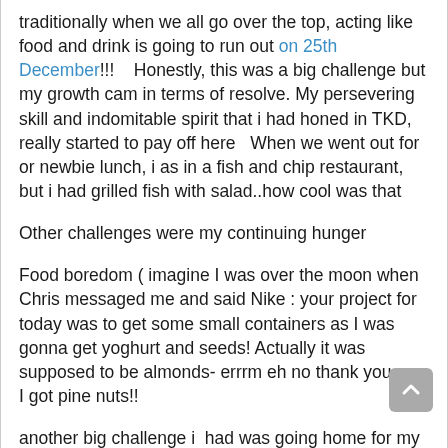traditionally when we all go over the top, acting like food and drink is going to run out on 25th December!!!    Honestly, this was a big challenge but my growth cam in terms of resolve. My persevering skill and indomitable spirit that i had honed in TKD, really started to pay off here   When we went out for or newbie lunch, i as in a fish and chip restaurant, but i had grilled fish with salad..how cool was that
Other challenges were my continuing hunger
Food boredom ( imagine I was over the moon when Chris messaged me and said Nike : your project for today was to get some small containers as I was gonna get yoghurt and seeds! Actually it was supposed to be almonds- errrm eh no thank you- so I got pine nuts!!
another big challenge i  had was going home for my